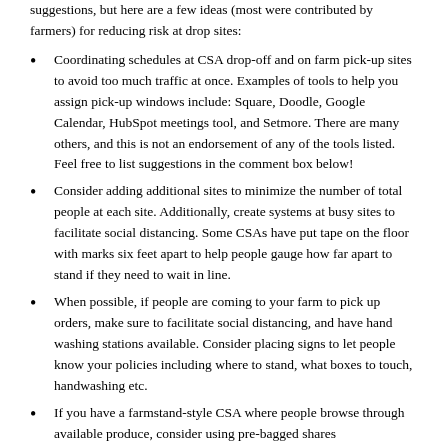suggestions, but here are a few ideas (most were contributed by farmers) for reducing risk at drop sites:
Coordinating schedules at CSA drop-off and on farm pick-up sites to avoid too much traffic at once. Examples of tools to help you assign pick-up windows include: Square, Doodle, Google Calendar, HubSpot meetings tool, and Setmore. There are many others, and this is not an endorsement of any of the tools listed. Feel free to list suggestions in the comment box below!
Consider adding additional sites to minimize the number of total people at each site. Additionally, create systems at busy sites to facilitate social distancing. Some CSAs have put tape on the floor with marks six feet apart to help people gauge how far apart to stand if they need to wait in line.
When possible, if people are coming to your farm to pick up orders, make sure to facilitate social distancing, and have hand washing stations available. Consider placing signs to let people know your policies including where to stand, what boxes to touch, handwashing etc.
If you have a farmstand-style CSA where people browse through available produce, consider using pre-bagged shares